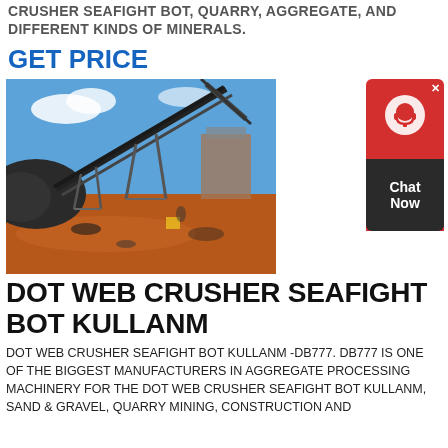CRUSHER SEAFIGHT BOT, QUARRY, AGGREGATE, AND DIFFERENT KINDS OF MINERALS.
GET PRICE
[Figure (photo): Outdoor industrial aggregate/quarry conveyor belt system at a mining site with red earth ground and blue sky]
DOT WEB CRUSHER SEAFIGHT BOT KULLANM
DOT WEB CRUSHER SEAFIGHT BOT KULLANM -DB777. DB777 IS ONE OF THE BIGGEST MANUFACTURERS IN AGGREGATE PROCESSING MACHINERY FOR THE DOT WEB CRUSHER SEAFIGHT BOT KULLANM, SAND & GRAVEL, QUARRY MINING, CONSTRUCTION AND